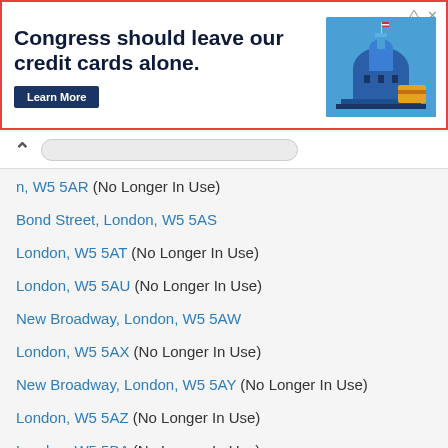[Figure (screenshot): Advertisement banner: 'Congress should leave our credit cards alone.' with Learn More button and Capitol building illustration]
n, W5 5AR (No Longer In Use)
Bond Street, London, W5 5AS
London, W5 5AT (No Longer In Use)
London, W5 5AU (No Longer In Use)
New Broadway, London, W5 5AW
London, W5 5AX (No Longer In Use)
New Broadway, London, W5 5AY (No Longer In Use)
London, W5 5AZ (No Longer In Use)
London, W5 5BA (No Longer In Use)
London, W5 5BB (No Longer In Use)
Holinser Terrace, London, W5 5BD
Mattock Lane, London, W5 5BE